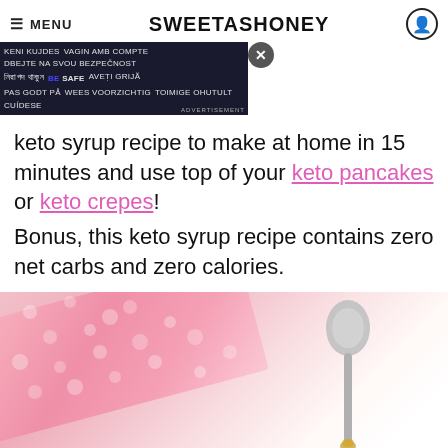☰ MENU | SWEETASHONEY 🔍
[Figure (screenshot): Be Safe multilingual ad banner overlay with dark blue background and close button]
keto syrup recipe to make at home in 15 minutes and use top of your keto pancakes or keto crepes!
Bonus, this keto syrup recipe contains zero net carbs and zero calories.
[Figure (photo): A spoon dripping with golden syrup against a blurred pink polka dot napkin background]